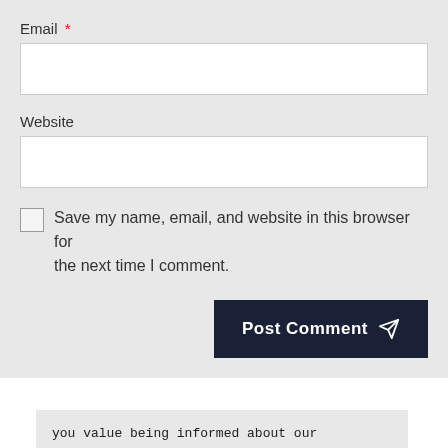Email *
[Figure (screenshot): Empty email text input field]
Website
[Figure (screenshot): Empty website text input field]
Save my name, email, and website in this browser for the next time I comment.
[Figure (screenshot): Post Comment button with paper airplane icon]
[Figure (screenshot): Ad box with text: you value being informed about our community and we value being informed BY our community, with a browser bar showing jewfolk branding and a dark image below]